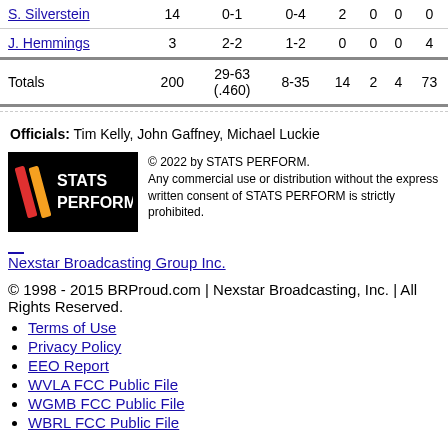| Player | Min | FG | 3PT | REB | AST | STL | PTS |
| --- | --- | --- | --- | --- | --- | --- | --- |
| S. Silverstein | 14 | 0-1 | 0-4 | 2 | 0 | 0 | 0 |
| J. Hemmings | 3 | 2-2 | 1-2 | 0 | 0 | 0 | 4 |
| Totals | 200 | 29-63 (.460) | 8-35 | 14 | 2 | 4 | 73 |
Officials: Tim Kelly, John Gaffney, Michael Luckie
[Figure (logo): STATS PERFORM logo on black background with copyright notice: © 2022 by STATS PERFORM. Any commercial use or distribution without the express written consent of STATS PERFORM is strictly prohibited.]
Nexstar Broadcasting Group Inc.
© 1998 - 2015 BRProud.com | Nexstar Broadcasting, Inc. | All Rights Reserved.
Terms of Use
Privacy Policy
EEO Report
WVLA FCC Public File
WGMB FCC Public File
WBRL FCC Public File